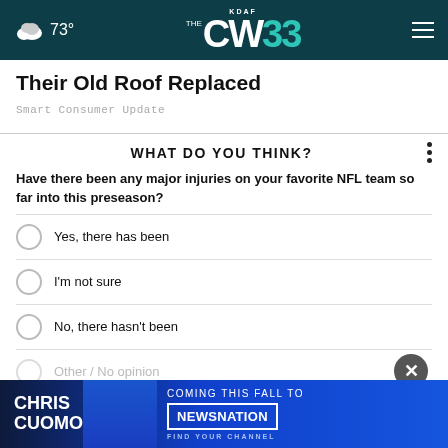73° KDAF THE CW 33
Their Old Roof Replaced
Smart Consumer Update
WHAT DO YOU THINK?
Have there been any major injuries on your favorite NFL team so far into this preseason?
Yes, there has been
I'm not sure
No, there hasn't been
Other / No opinion
[Figure (photo): Chris Cuomo Coming This Fall to NewsNation advertisement banner]